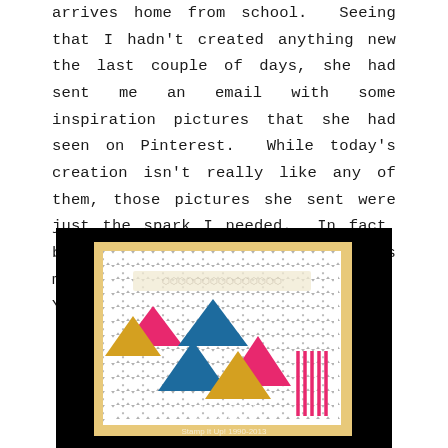arrives home from school.  Seeing that I hadn't created anything new the last couple of days, she had sent me an email with some inspiration pictures that she had seen on Pinterest.  While today's creation isn't really like any of them, those pictures she sent were just the spark I needed.  In fact, before she left the house this morning I was halfway finished.  Yeah!
[Figure (photo): A handmade greeting card photographed on a dark background. The card features a chevron (zigzag) patterned paper in grey and white, layered on a mustard/gold textured cardstock. Colorful geometric triangles in pink/magenta, teal/blue, and yellow/gold are arranged in a pattern on the chevron paper. A white lace or crochet trim is visible near the top of the card. A pink and white striped embellishment is visible at the bottom right. A watermark reads 'Created by Artful Inker, theartfulinker.com, Stamp It Up! 1990-2013'.]